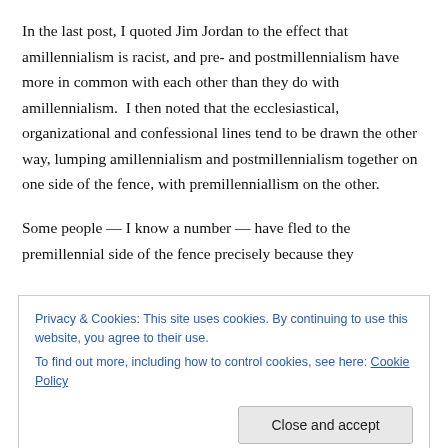In the last post, I quoted Jim Jordan to the effect that amillennialism is racist, and pre- and postmillennialism have more in common with each other than they do with amillennialism. I then noted that the ecclesiastical, organizational and confessional lines tend to be drawn the other way, lumping amillennialism and postmillennialism together on one side of the fence, with premillenniallism on the other.
Some people — I know a number — have fled to the premillennial side of the fence precisely because they
Privacy & Cookies: This site uses cookies. By continuing to use this website, you agree to their use. To find out more, including how to control cookies, see here: Cookie Policy
However, it has to be said that a great number have fled